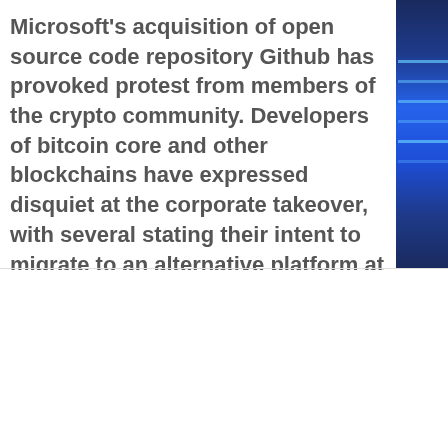Microsoft's acquisition of open source code repository Github has provoked protest from members of the crypto community. Developers of bitcoin core and other blockchains have expressed disquiet at the corporate takeover, with several stating their intent to migrate to an alternative platform at the earliest possible convenience.
We use cookies on our website to give you the most relevant experience by remembering your preferences and repeat visits. By clicking "Accept All", you consent to the use of ALL the cookies. However, you may visit 'Cookie Settings' to provide a controlled consent.